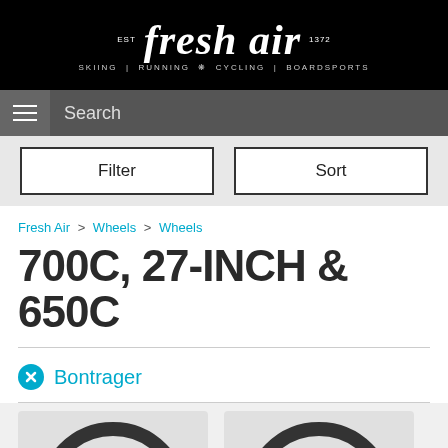fresh air EST 1972 SKIING | RUNNING | CYCLING | BOARDSPORTS
Search
Filter | Sort
Fresh Air > Wheels > Wheels
700C, 27-INCH & 650C
Bontrager
[Figure (photo): Two bicycle wheel product thumbnails partially visible at bottom of page]